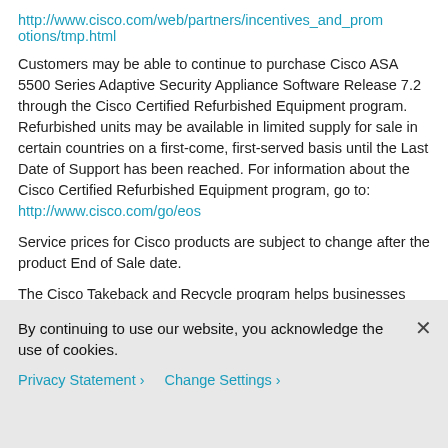http://www.cisco.com/web/partners/incentives_and_promotions/tmp.html
Customers may be able to continue to purchase Cisco ASA 5500 Series Adaptive Security Appliance Software Release 7.2 through the Cisco Certified Refurbished Equipment program. Refurbished units may be available in limited supply for sale in certain countries on a first-come, first-served basis until the Last Date of Support has been reached. For information about the Cisco Certified Refurbished Equipment program, go to: http://www.cisco.com/go/eos
Service prices for Cisco products are subject to change after the product End of Sale date.
The Cisco Takeback and Recycle program helps businesses dispose properly of surplus products that have reached their end of useful life. The program is open to all business users of Cisco equipment and its associated brands and subsidiaries. For more information, go to: http://www.cisco.com/web/about/ac227/ac228/ac231/ab...
By continuing to use our website, you acknowledge the use of cookies.
Privacy Statement > Change Settings >